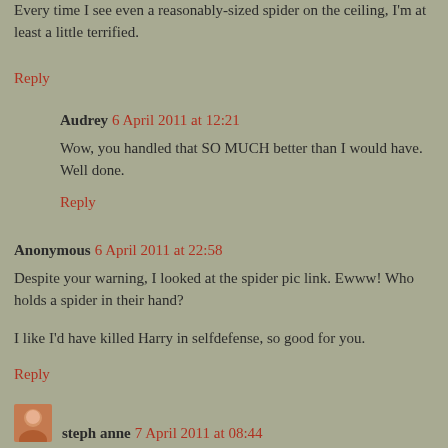Every time I see even a reasonably-sized spider on the ceiling, I'm at least a little terrified.
Reply
Audrey 6 April 2011 at 12:21
Wow, you handled that SO MUCH better than I would have. Well done.
Reply
Anonymous 6 April 2011 at 22:58
Despite your warning, I looked at the spider pic link. Ewww! Who holds a spider in their hand?
I like I'd have killed Harry in selfdefense, so good for you.
Reply
steph anne 7 April 2011 at 08:44